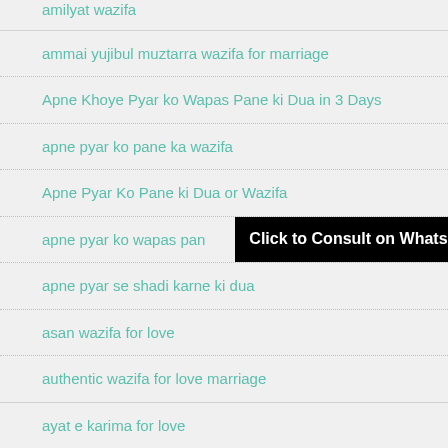amilyat wazifa
ammai yujibul muztarra wazifa for marriage
Apne Khoye Pyar ko Wapas Pane ki Dua in 3 Days
apne pyar ko pane ka wazifa
Apne Pyar Ko Pane ki Dua or Wazifa
apne pyar ko wapas pane
[Figure (other): Black banner overlay reading 'Click to Consult on Whatsapp']
apne pyar se shadi karne ki dua
asan wazifa for love
authentic wazifa for love marriage
ayat e karima for love